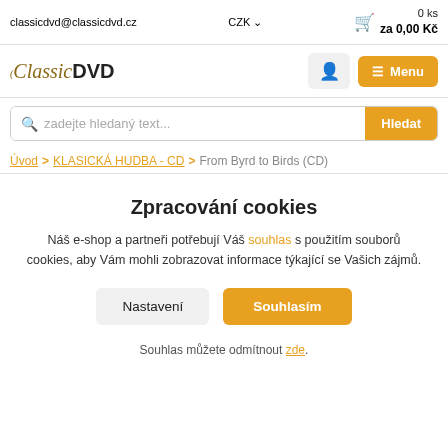classicdvd@classicdvd.cz  CZK  0 ks za 0,00 Kč
[Figure (logo): Classic DVD logo with stylized italic 'Classic' in brown/gold and bold 'DVD' in black]
zadejte hledaný text...
Úvod > KLASICKÁ HUDBA - CD > From Byrd to Birds (CD)
Zpracování cookies
Náš e-shop a partneři potřebují Váš souhlas s použitím souborů cookies, aby Vám mohli zobrazovat informace týkající se Vašich zájmů.
Nastavení
Souhlasím
Souhlas můžete odmítnout zde.